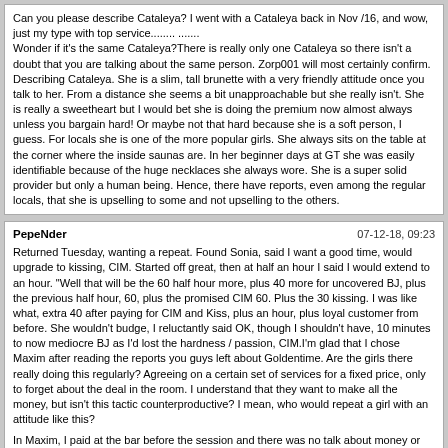Can you please describe Cataleya? I went with a Cataleya back in Nov /16, and wow, just my type with top service........ ....... Wonder if it's the same Cataleya?There is really only one Cataleya so there isn't a doubt that you are talking about the same person. Zorp001 will most certainly confirm. Describing Cataleya. She is a slim, tall brunette with a very friendly attitude once you talk to her. From a distance she seems a bit unapproachable but she really isn't. She is really a sweetheart but I would bet she is doing the premium now almost always unless you bargain hard! Or maybe not that hard because she is a soft person, I guess. For locals she is one of the more popular girls. She always sits on the table at the corner where the inside saunas are. In her beginner days at GT she was easily identifiable because of the huge necklaces she always wore. She is a super solid provider but only a human being. Hence, there have reports, even among the regular locals, that she is upselling to some and not upselling to the others.
PepeNder | 07-12-18, 09:23 | Returned Tuesday, wanting a repeat. Found Sonia, said I want a good time, would upgrade to kissing, CIM. Started off great, then at half an hour I said I would extend to an hour. "Well that will be the 60 half hour more, plus 40 more for uncovered BJ, plus the previous half hour, 60, plus the promised CIM 60. Plus the 30 kissing. I was like what, extra 40 after paying for CIM and Kiss, plus an hour, plus loyal customer from before. She wouldn't budge, I reluctantly said OK, though I shouldn't have, 10 minutes to now mediocre BJ as I'd lost the hardness / passion, CIM.I'm glad that I chose Maxim after reading the reports you guys left about Goldentime. Are the girls there really doing this regularly? Agreeing on a certain set of services for a fixed price, only to forget about the deal in the room. I understand that they want to make all the money, but isn't this tactic counterproductive? I mean, who would repeat a girl with an attitude like this? In Maxim, I paid at the bar before the session and there was no talk about money or services in the room whatsoever. I feel like this privilege and peace of mind is worth the extra I paid.